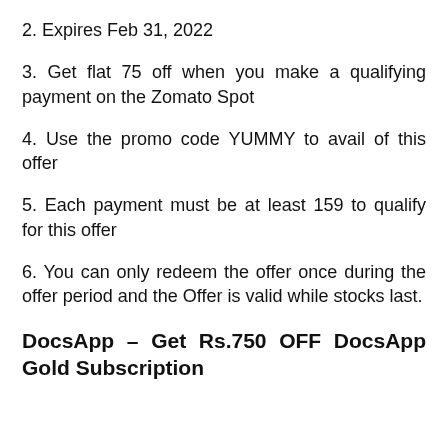2. Expires Feb 31, 2022
3. Get flat 75 off when you make a qualifying payment on the Zomato Spot
4. Use the promo code YUMMY to avail of this offer
5. Each payment must be at least 159 to qualify for this offer
6. You can only redeem the offer once during the offer period and the Offer is valid while stocks last.
DocsApp – Get Rs.750 OFF DocsApp Gold Subscription